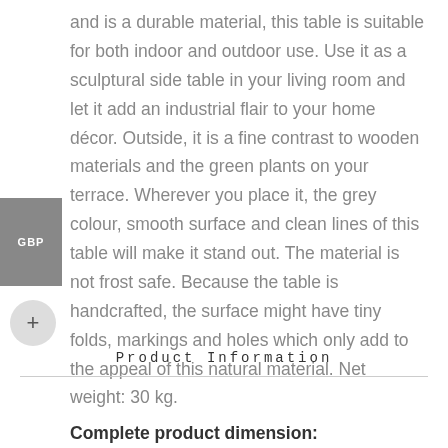and is a durable material, this table is suitable for both indoor and outdoor use. Use it as a sculptural side table in your living room and let it add an industrial flair to your home décor. Outside, it is a fine contrast to wooden materials and the green plants on your terrace. Wherever you place it, the grey colour, smooth surface and clean lines of this table will make it stand out. The material is not frost safe. Because the table is handcrafted, the surface might have tiny folds, markings and holes which only add to the appeal of this natural material. Net weight: 30 kg.
Product Information
Complete product dimension: